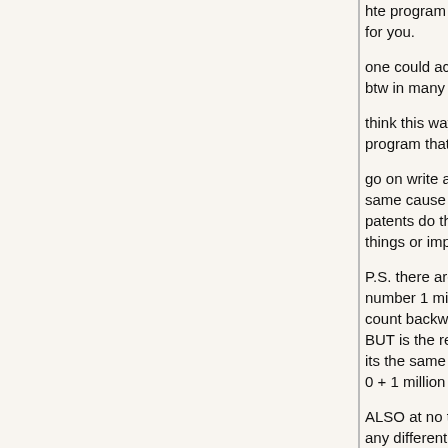hte program is run that have the math you do get its answer for you.
one could actually arrive at the same mathmatical answer btw in many differant ways.
think this way how many ways are there to come up with a program that starts at zero and ends at one million.
go on write a program ....does this mean each program is the same cause they do the same thing? NO. BUT thats what patents do the force people to not innovate new ways to do things or improve.
P.S. there are some real slow ways one could arrive at the number 1 million .... example one could add 5 trillion ht count backward in a loop by one....
BUT is the result is you get to one million does that mean its the same as say
0 + 1 million ? Of course not.
ALSO at no time does the actual parts of my computer become any different ONLY ITS USE....
THIS is why in my opinion you cannot say a program makes a new machine....it is the same machine told to do something new.
when i tell you to count form zero to one million you dont become something new. YOUR the same person....the same is here is the computer just does things faster.